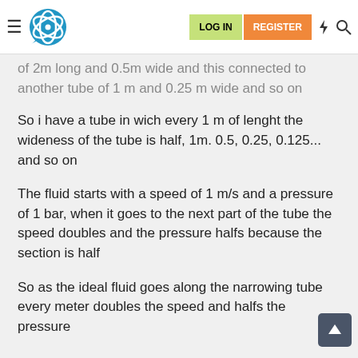LOG IN | REGISTER (navigation bar with logo)
of 2m long and 0.5m wide and this connected to another tube of 1 m and 0.25 m wide and so on
So i have a tube in wich every 1 m of lenght the wideness of the tube is half, 1m. 0.5, 0.25, 0.125... and so on
The fluid starts with a speed of 1 m/s and a pressure of 1 bar, when it goes to the next part of the tube the speed doubles and the pressure halfs because the section is half
So as the ideal fluid goes along the narrowing tube every meter doubles the speed and halfs the pressure